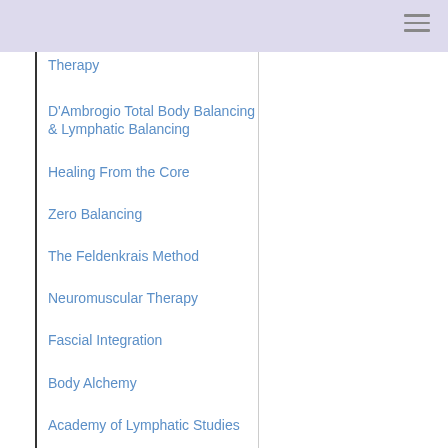Therapy
D'Ambrogio Total Body Balancing & Lymphatic Balancing
Healing From the Core
Zero Balancing
The Feldenkrais Method
Neuromuscular Therapy
Fascial Integration
Body Alchemy
Academy of Lymphatic Studies
Stocco Fascial